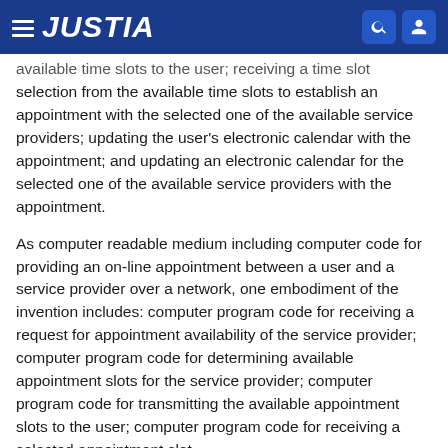JUSTIA
available time slots to the user; receiving a time slot selection from the available time slots to establish an appointment with the selected one of the available service providers; updating the user's electronic calendar with the appointment; and updating an electronic calendar for the selected one of the available service providers with the appointment.
As computer readable medium including computer code for providing an on-line appointment between a user and a service provider over a network, one embodiment of the invention includes: computer program code for receiving a request for appointment availability of the service provider; computer program code for determining available appointment slots for the service provider; computer program code for transmitting the available appointment slots to the user; computer program code for receiving a selected appointment slot